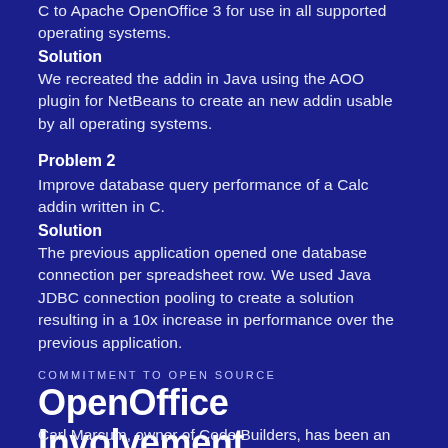C to Apache OpenOffice 3 for use in all supported operating systems.
Solution
We recreated the addin in Java using the AOO plugin for NetBeans to create an new addin usable by all operating systems.
Problem 2
Improve database query performance of a Calc addin written in C.
Solution
The previous application opened one database connection per spreadsheet row. We used Java JDBC connection pooling to create a solution resulting in a 10x increase in performance over the previous application.
COMMITMENT TO OPEN SOURCE
OpenOffice Involvement
Carl Marcum, owner of Code Builders, has been an active Apache OpenOffice committer, former Podling Project